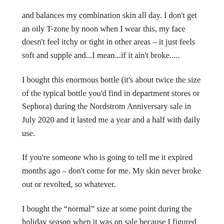and balances my combination skin all day. I don't get an oily T-zone by noon when I wear this, my face doesn't feel itchy or tight in other areas – it just feels soft and supple and...I mean...if it ain't broke.....
I bought this enormous bottle (it's about twice the size of the typical bottle you'd find in department stores or Sephora) during the Nordstrom Anniversary sale in July 2020 and it lasted me a year and a half with daily use.
If you're someone who is going to tell me it expired months ago – don't come for me. My skin never broke out or revolted, so whatever.
I bought the “normal” size at some point during the holiday season when it was on sale because I figured this size would be enough to last until the next Nordstrom Anniversary sale in July